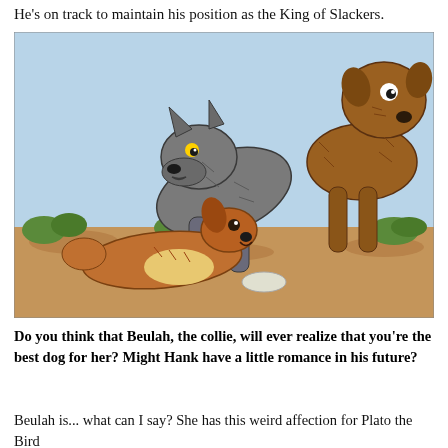He's on track to maintain his position as the King of Slackers.
[Figure (illustration): Comic illustration showing three dogs outdoors: a gray wolf-like dog crouching aggressively, a brown/tan collie lying on the ground looking scared, and a large brown dog standing on the right side. Desert/scrubland background with blue sky.]
Do you think that Beulah, the collie, will ever realize that you're the best dog for her? Might Hank have a little romance in his future?
Beulah is... what can I say? She has this weird affection for Plato the Bird